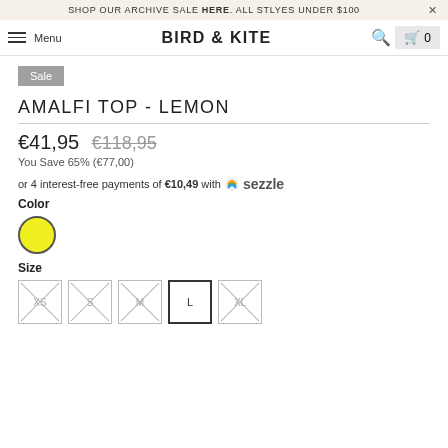SHOP OUR ARCHIVE SALE HERE. ALL STLYES UNDER $100
BIRD & KITE — Menu, Search, Cart 0
Sale
AMALFI TOP - LEMON
€41,95 €118,95
You Save 65% (€77,00)
or 4 interest-free payments of €10,49 with Sezzle
Color
[Figure (other): Yellow color swatch circle]
Size
Size options: XS (crossed out), S (crossed out), M (crossed out), L (selected), XL (crossed out)